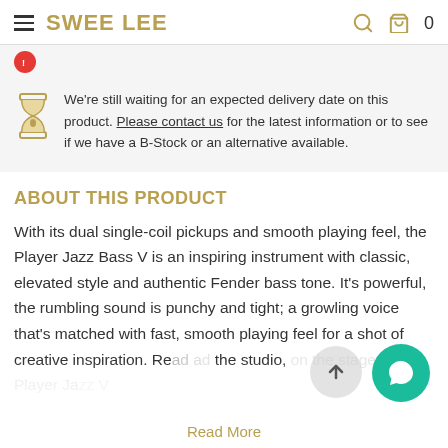SWEE LEE
We're still waiting for an expected delivery date on this product. Please contact us for the latest information or to see if we have a B-Stock or an alternative available.
ABOUT THIS PRODUCT
With its dual single-coil pickups and smooth playing feel, the Player Jazz Bass V is an inspiring instrument with classic, elevated style and authentic Fender bass tone. It's powerful, the rumbling sound is punchy and tight; a growling voice that's matched with fast, smooth playing feel for a shot of creative inspiration. Re... ad the studio, on the stage, the Player Ja... V...
Read More